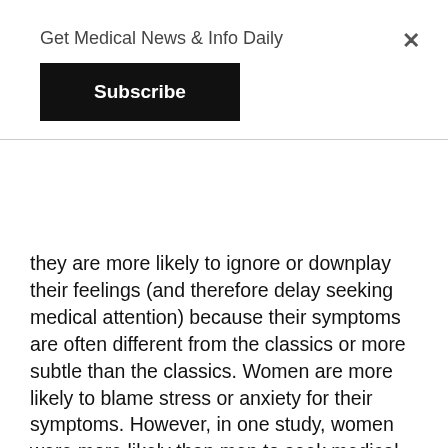Get Medical News & Info Daily
they are more likely to ignore or downplay their feelings (and therefore delay seeking medical attention) because their symptoms are often different from the classics or more subtle than the classics. Women are more likely to blame stress or anxiety for their symptoms. However, in one study, women were more likely than men to seek medical attention for their symptoms before hospitalization (29.5%) compared to men (22.1%). However, 53% of women said the healthcare provider did not believe their symptoms were related to a heart problem, compared to 37% of men who said the healthcare professional seemed to rule out a heart problem . In one study, women reported that they initially believed their heart attack symptoms were caused by sleep